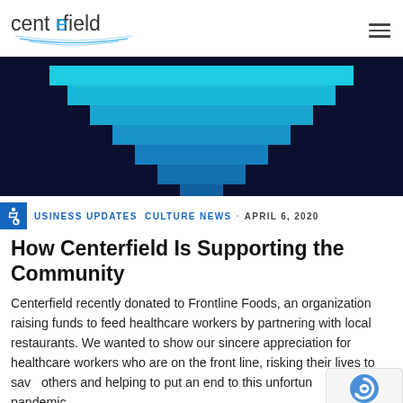centerfield [logo with hamburger menu]
[Figure (illustration): Dark navy blue background with a pixelated/stepped funnel or downward arrow shape made of cyan and blue gradient blocks, resembling the Centerfield logo graphic]
BUSINESS UPDATES CULTURE NEWS · APRIL 6, 2020
How Centerfield Is Supporting the Community
Centerfield recently donated to Frontline Foods, an organization raising funds to feed healthcare workers by partnering with local restaurants. We wanted to show our sincere appreciation for healthcare workers who are on the front line, risking their lives to save others and helping to put an end to this unfortunate pandemic.